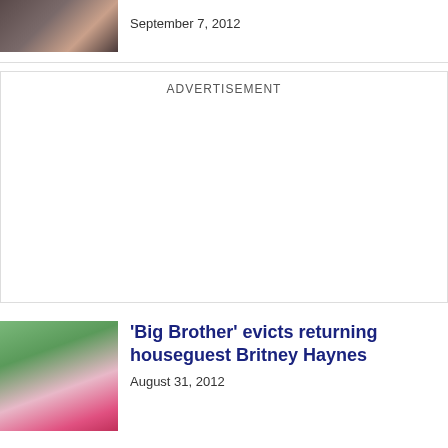[Figure (photo): Thumbnail photo of a woman with dark hair and necklace]
September 7, 2012
ADVERTISEMENT
[Figure (photo): Thumbnail photo of Britney Haynes, blonde woman smiling in pink top]
'Big Brother' evicts returning houseguest Britney Haynes
August 31, 2012